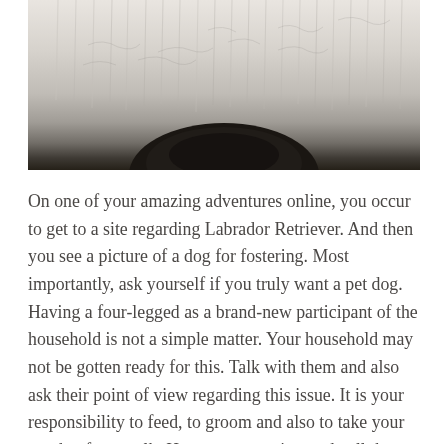[Figure (photo): A close-up photo of what appears to be the top of a dark-colored dog's head (likely a Labrador Retriever) against a blurred light-colored background with curtain-like textures.]
On one of your amazing adventures online, you occur to get to a site regarding Labrador Retriever. And then you see a picture of a dog for fostering. Most importantly, ask yourself if you truly want a pet dog. Having a four-legged as a brand-new participant of the household is not a simple matter. Your household may not be gotten ready for this. Talk with them and also ask their point of view regarding this issue. It is your responsibility to feed, to groom and also to take your pet dog for a walk. How are you going to do all these if your time is only enough for job, caring for